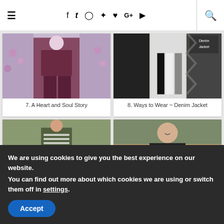≡  f  t  ⊙  p  ♥  G+  ▶  🔍
[Figure (photo): Fashion photo: person in burgundy pants with flowers in background. Card 7: A Heart and Soul Story]
7. A Heart and Soul Story
[Figure (photo): Fashion collage showing denim jacket outfits. Card 8: Ways to Wear ~ Denim Jacket]
8. Ways to Wear ~ Denim Jacket
[Figure (photo): Person wearing striped shirt, olive vest and jeans. Card 9: A Little Bit of Cheer: Stripes & Rucksack]
9. A Little Bit of Cheer: Stripes & Rucksack
[Figure (photo): Woman smiling in dark cardigan and floral top. Card 10: Away From Blue: Corporate Style Office]
10. Away From Blue: Corporate Style Offi…
We are using cookies to give you the best experience on our website.
You can find out more about which cookies we are using or switch them off in settings.